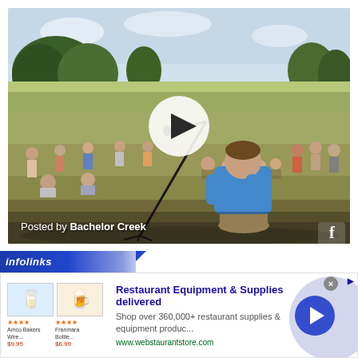[Figure (photo): Outdoor video thumbnail showing a man in a blue shirt kneeling in a field with a microphone stand in front of him, surrounded by a group of people standing and sitting in a circle on a grassy field with trees in the background. A white play button is overlaid in the center. Text overlay reads 'Posted by Bachelor Creek' with a Facebook icon in the bottom right.]
[Figure (screenshot): Advertisement banner with infolinks branding bar at top, showing a Restaurant Equipment & Supplies ad from webstaurantstore.com with product images (glasses and bottles), star ratings, bold blue headline text, description text, website URL in green, and a blue circular arrow button on the right with a purple/blue circle background.]